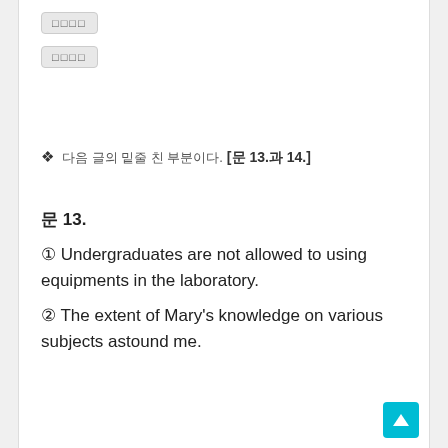[Figure (other): Two gray button/badge UI elements with Korean text placeholders rendered as rectangles]
❖ 다음 글의 밑줄 친 부분이다. [문 13.과 14.]
문 13.
① Undergraduates are not allowed to using equipments in the laboratory.
② The extent of Mary's knowledge on various subjects astound me.